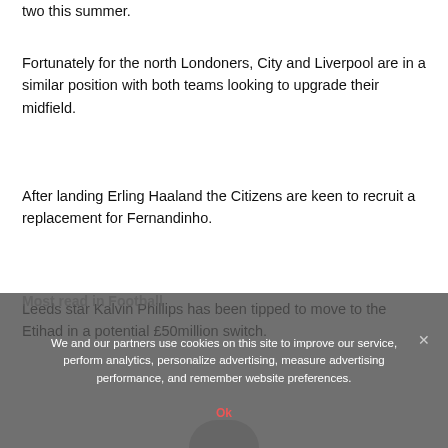two this summer.
Fortunately for the north Londoners, City and Liverpool are in a similar position with both teams looking to upgrade their midfield.
After landing Erling Haaland the Citizens are keen to recruit a replacement for Fernandinho.
Leeds star Kalvin Phillips has been tipped to move to the Etihad in a potential £50million switch.
Most read in Football
We and our partners use cookies on this site to improve our service, perform analytics, personalize advertising, measure advertising performance, and remember website preferences.
Ok